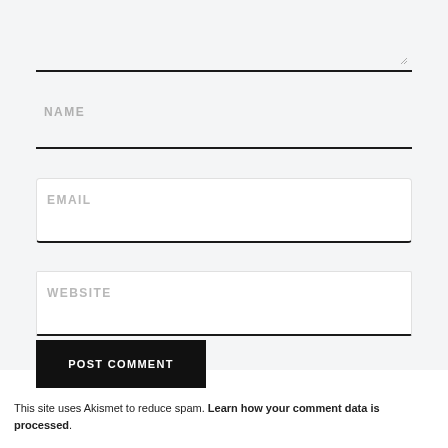[Figure (screenshot): A web comment form with textarea (partially visible at top), Name field, Email field, Website field, and a POST COMMENT button. The form has a light gray background with black underline borders on input fields.]
This site uses Akismet to reduce spam. Learn how your comment data is processed.